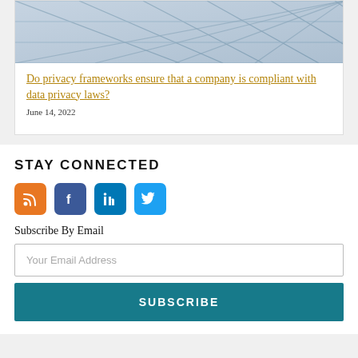[Figure (photo): Close-up architectural photo of a geometric steel and glass dome/grid structure with triangular panels against a light sky.]
Do privacy frameworks ensure that a company is compliant with data privacy laws?
June 14, 2022
STAY CONNECTED
[Figure (infographic): Four social media icons in colored rounded square boxes: RSS (orange), Facebook (dark blue), LinkedIn (blue), Twitter (light blue).]
Subscribe By Email
Your Email Address
SUBSCRIBE